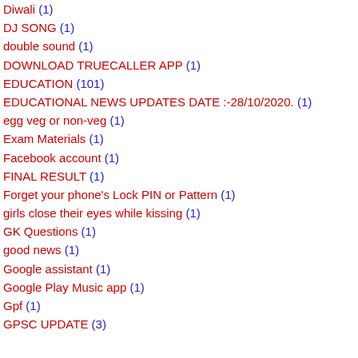Diwali (1)
DJ SONG (1)
double sound (1)
DOWNLOAD TRUECALLER APP (1)
EDUCATION (101)
EDUCATIONAL NEWS UPDATES DATE :-28/10/2020. (1)
egg veg or non-veg (1)
Exam Materials (1)
Facebook account (1)
FINAL RESULT (1)
Forget your phone's Lock PIN or Pattern (1)
girls close their eyes while kissing (1)
GK Questions (1)
good news (1)
Google assistant (1)
Google Play Music app (1)
Gpf (1)
GPSC UPDATE (3)